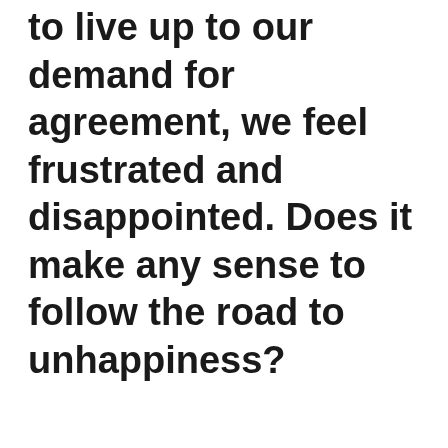to live up to our demand for agreement, we feel frustrated and disappointed. Does it make any sense to follow the road to unhappiness?